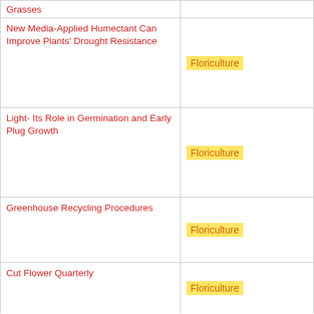| Title | Category |
| --- | --- |
| Grasses |  |
| New Media-Applied Humectant Can Improve Plants' Drought Resistance | Floriculture |
| Light- Its Role in Germination and Early Plug Growth | Floriculture |
| Greenhouse Recycling Procedures | Floriculture |
| Cut Flower Quarterly | Floriculture |